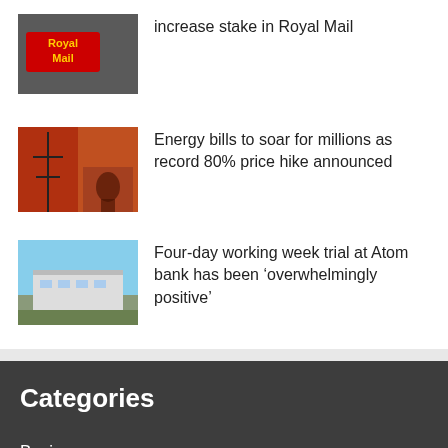[Figure (photo): Royal Mail logo sign on grey background]
increase stake in Royal Mail
[Figure (photo): Energy pylons and gas flames composite image with red/orange tones]
Energy bills to soar for millions as record 80% price hike announced
[Figure (photo): Atom bank office building exterior with blue sky]
Four-day working week trial at Atom bank has been ‘overwhelmingly positive’
Categories
Business
Entertainment